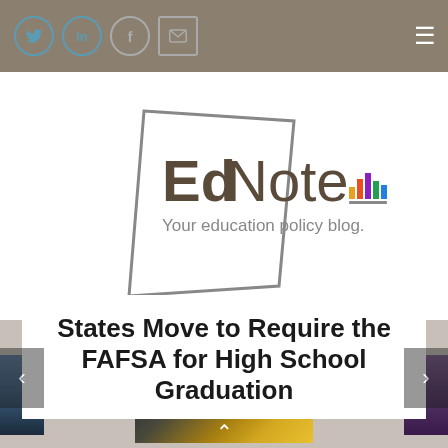Social media icons: Twitter, LinkedIn, Facebook, Email; Hamburger menu
[Figure (logo): EdNote logo — a tilted square outline containing bold 'Ed' text followed by 'Note', subtitle 'Your education policy blog.' with colorful bar chart icon]
States Move to Require the FAFSA for High School Graduation
[Figure (photo): Abstract blurred photo with dark left side and golden/yellow tones on right, likely outdoor scene]